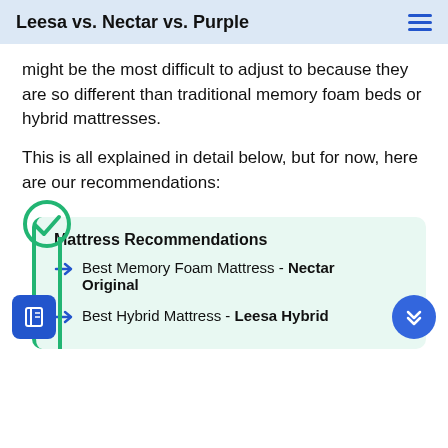Leesa vs. Nectar vs. Purple
might be the most difficult to adjust to because they are so different than traditional memory foam beds or hybrid mattresses.
This is all explained in detail below, but for now, here are our recommendations:
Mattress Recommendations
Best Memory Foam Mattress - Nectar Original
Best Hybrid Mattress - Leesa Hybrid